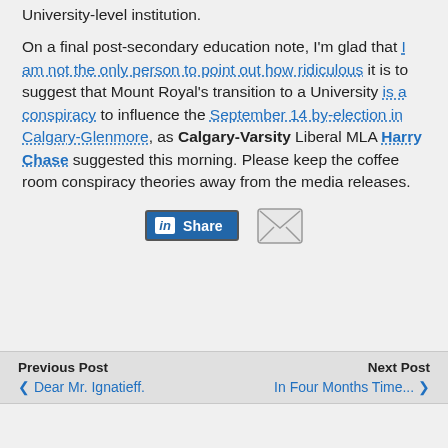University-level institution.
On a final post-secondary education note, I'm glad that I am not the only person to point out how ridiculous it is to suggest that Mount Royal's transition to a University is a conspiracy to influence the September 14 by-election in Calgary-Glenmore, as Calgary-Varsity Liberal MLA Harry Chase suggested this morning. Please keep the coffee room conspiracy theories away from the media releases.
[Figure (other): LinkedIn Share button and email icon share buttons]
Previous Post | Dear Mr. Ignatieff.   Next Post | In Four Months Time...